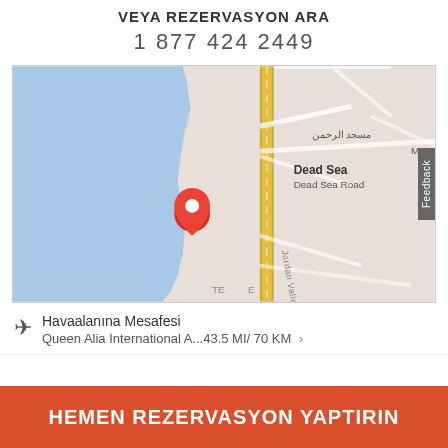VEYA REZERVASYON ARA
1 877 424 2449
[Figure (map): Google Maps screenshot showing Dead Sea / Dead Sea Road area in Jordan. A red location pin is placed near the Dead Sea coastline. A yellow road (Jordan Valley Highway) runs vertically through the map. Text labels include 'Dead Sea', 'Dead Sea Road', and Arabic text. A grey 'Feedback' tab is visible on the right edge.]
Havaalanına Mesafesi
Queen Alia International A...43.5 MI/ 70 KM
HEMEN REZERVASYON YAPTIRIN